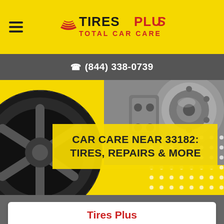[Figure (logo): Tires Plus Total Car Care logo on yellow navigation bar with hamburger menu icon on the left]
(844) 338-0739
[Figure (photo): Hero image showing a black alloy wheel/tire on the left and a car brake rotor/part on the right, with yellow background and white dot pattern in bottom right corner. Yellow semi-transparent overlay box contains the title text.]
CAR CARE NEAR 33182: TIRES, REPAIRS & MORE
Tires Plus
15757 S Dixie Hwy
Miami, FL 33157

Hours Today: 7:00 am to 7:00 pm